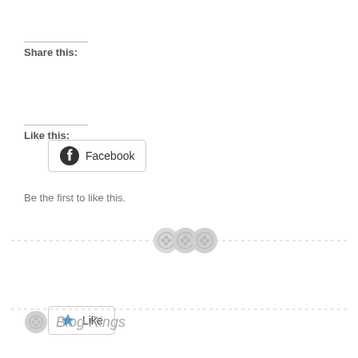Share this:
[Figure (other): Facebook share button with Facebook logo icon]
Like this:
[Figure (other): Like button with blue star icon]
Be the first to like this.
[Figure (other): Decorative dashed divider with three button/stitch icons in the center]
Blog Rings
[Figure (other): Follow me on bloglovin button]